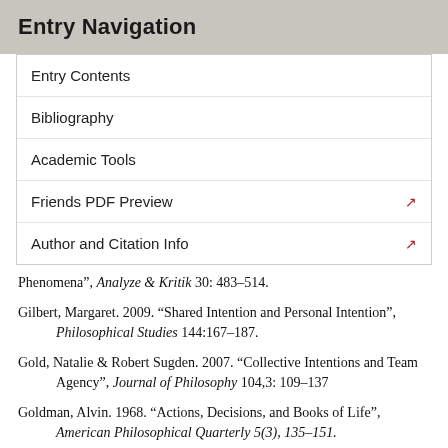Entry Navigation
Entry Contents
Bibliography
Academic Tools
Friends PDF Preview
Author and Citation Info
Phenomena”, Analyze & Kritik 30: 483–514.
Gilbert, Margaret. 2009. “Shared Intention and Personal Intention”, Philosophical Studies 144:167–187.
Gold, Natalie & Robert Sugden. 2007. “Collective Intentions and Team Agency”, Journal of Philosophy 104,3: 109–137
Goldman, Alvin. 1968. “Actions, Decisions, and Books of Life”, American Philosophical Quarterly 5(3), 135–151.
Goldman, Alvin. 1970. A Theory of Human Action.